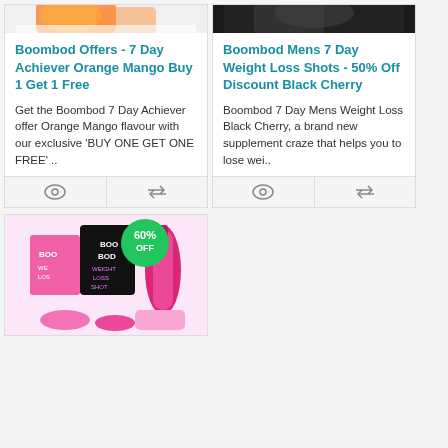[Figure (photo): Boombod Orange Mango product image (partially visible at top)]
Boombod Offers - 7 Day Achiever Orange Mango Buy 1 Get 1 Free
Get the Boombod 7 Day Achiever offer Orange Mango flavour with our exclusive 'BUY ONE GET ONE FREE' ..
[Figure (photo): Boombod Mens Black Cherry product image (partially visible at top)]
Boombod Mens 7 Day Weight Loss Shots - 50% Off Discount Black Cherry
Boombod 7 Day Mens Weight Loss Black Cherry, a brand new supplement craze that helps you to lose wei..
[Figure (photo): Boombod Mens product bundle with 60% off badge, pink products including bottles and shaker]